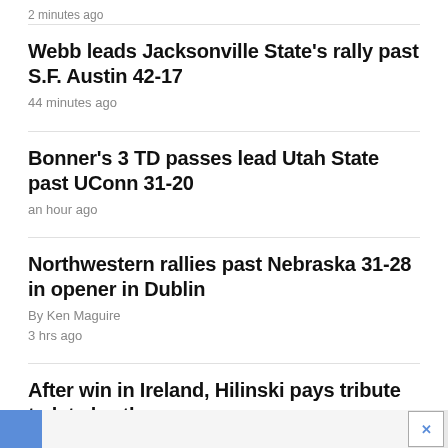2 minutes ago
Webb leads Jacksonville State's rally past S.F. Austin 42-17
44 minutes ago
Bonner's 3 TD passes lead Utah State past UConn 31-20
an hour ago
Northwestern rallies past Nebraska 31-28 in opener in Dublin
By Ken Maguire
3 hrs ago
After win in Ireland, Hilinski pays tribute to late brother
By Ken Maguire
an hour ago
[Figure (other): Advertisement banner at bottom of page with blue block on left and X close button on right]